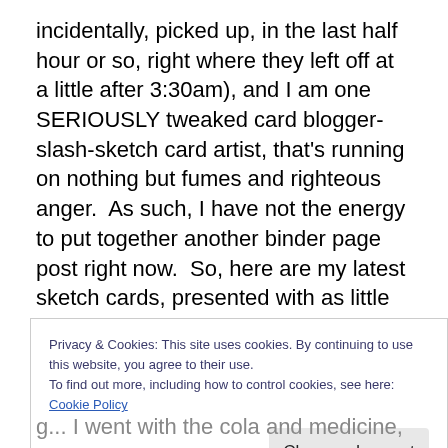incidentally, picked up, in the last half hour or so, right where they left off at a little after 3:30am), and I am one SERIOUSLY tweaked card blogger-slash-sketch card artist, that's running on nothing but fumes and righteous anger.  As such, I have not the energy to put together another binder page post right now.  So, here are my latest sketch cards, presented with as little commentary as possible.
That paragraph was written early Saturday afternoon, but the truth is, it was the truth, so it stays.  I went out shortly
Privacy & Cookies: This site uses cookies. By continuing to use this website, you agree to their use.
To find out more, including how to control cookies, see here: Cookie Policy
Close and accept
g... I went with the cola and medicine, because I'm pretty